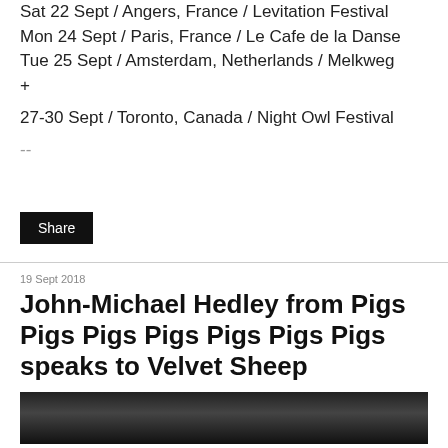Sat 22 Sept  / Angers, France / Levitation Festival
Mon 24 Sept / Paris, France / Le Cafe de la Danse
Tue 25 Sept / Amsterdam, Netherlands / Melkweg
+
27-30 Sept  / Toronto, Canada / Night Owl Festival
--
Share
19 Sept 2018
John-Michael Hedley from Pigs Pigs Pigs Pigs Pigs Pigs Pigs speaks to Velvet Sheep
[Figure (photo): Black and white photo strip at bottom of page]